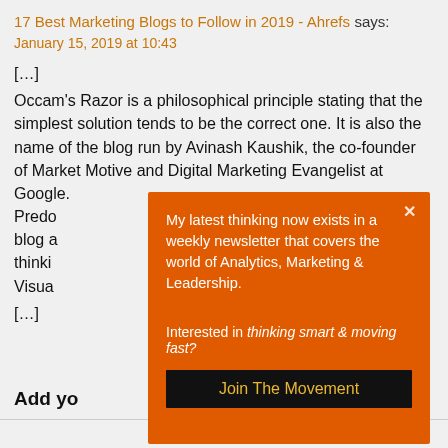17 Best Marketing Blogs to Follow in 2019 - Ahrefs says:
January 15, 2019 at 10:43
[...]
Occam's Razor is a philosophical principle stating that the simplest solution tends to be the correct one. It is also the name of the blog run by Avinash Kaushik, the co-founder of Market Motive and Digital Marketing Evangelist at Google. Predo... blog a... thinki... Visua... [...]
[Figure (screenshot): Orange modal popup overlay with text: 'My latest thinking now exists in a weekly newsletter that covers the world of Analytics, Marketing & Leadership.' and 'Interested in thinking smart & moving fast?' with a black 'Join The Movement' button and an X close button in the top right corner.]
Add yo...